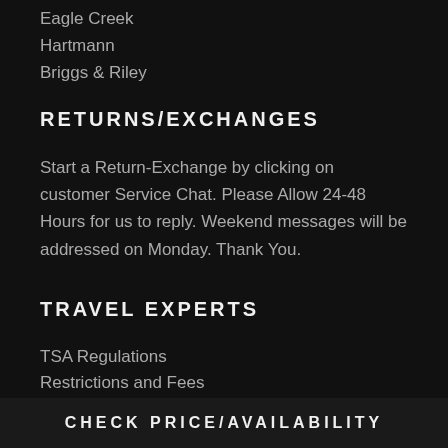Eagle Creek
Hartmann
Briggs & Riley
RETURNS/EXCHANGES
Start a Return-Exchange by clicking on customer Service Chat. Please Allow 24-48 Hours for us to reply. Weekend messages will be addressed on Monday. Thank You.
TRAVEL EXPERTS
TSA Regulations
Restrictions and Fees
Airline Luggage
Luggage Cleaning
CHECK PRICE/AVAILABILITY